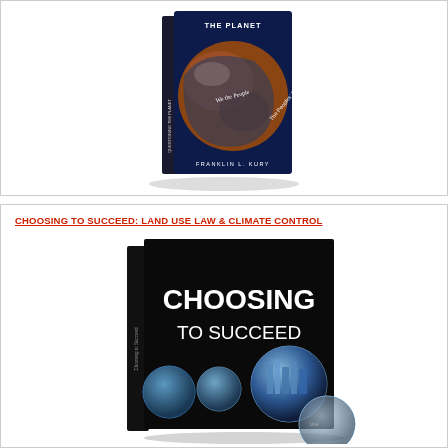[Figure (photo): Book cover of 'Questioning the Planet: The Peoples' Right to a Healthy Environment' by Franklin L. Kury, showing a globe with wooden texture and a starry background]
CHOOSING TO SUCCEED: LAND USE LAW & CLIMATE CONTROL
[Figure (photo): Book cover of 'Choosing to Succeed' showing large white bold text on a black background with glass spheres containing city imagery]